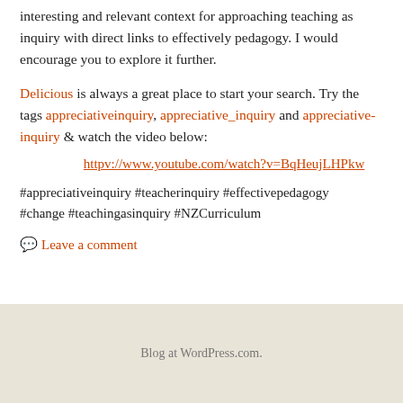interesting and relevant context for approaching teaching as inquiry with direct links to effectively pedagogy. I would encourage you to explore it further.
Delicious is always a great place to start your search. Try the tags appreciativeinquiry, appreciative_inquiry and appreciative-inquiry & watch the video below:
httpv://www.youtube.com/watch?v=BqHeujLHPkw
#appreciativeinquiry #teacherinquiry #effectivepedagogy #change #teachingasinquiry #NZCurriculum
Leave a comment
Blog at WordPress.com.